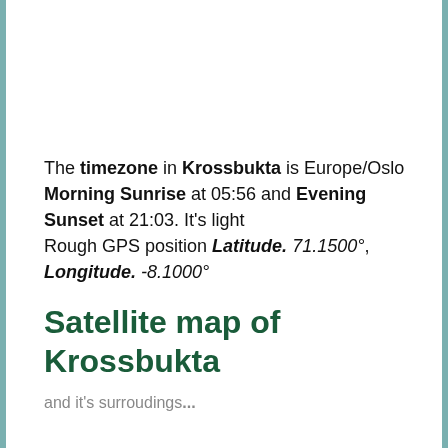The timezone in Krossbukta is Europe/Oslo Morning Sunrise at 05:56 and Evening Sunset at 21:03. It's light Rough GPS position Latitude. 71.1500°, Longitude. -8.1000°
Satellite map of Krossbukta
and it's surroudings...